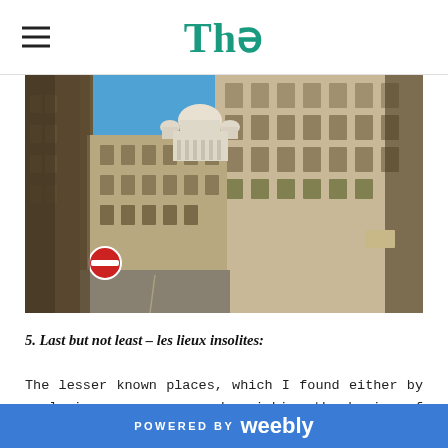Thə
[Figure (photo): Street-level view of a Parisian boulevard with Haussmann-style buildings on either side converging toward the Sacré-Cœur basilica with its white domed roof, under a clear blue sky. A round red no-entry traffic sign is visible in the lower left.]
5. Last but not least – les lieux insolites:
The lesser known places, which I found either by exploring on my own or by picking the brains of my co-workers, are undoubtedly the best. The Eiffel Tower and the Sacré-Coeur are indisputably gorgeous, a must-see for any Parisian first-timer. However, if you are looking to
POWERED BY weebly